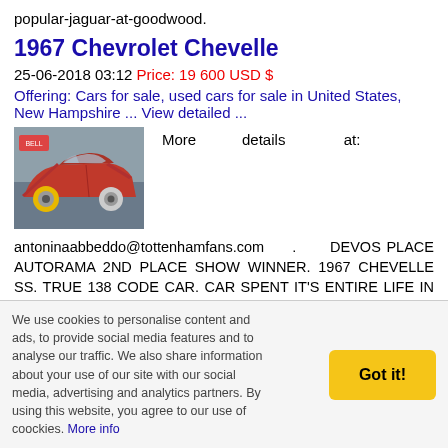popular-jaguar-at-goodwood.
1967 Chevrolet Chevelle
25-06-2018 03:12 Price: 19 600 USD $
Offering: Cars for sale, used cars for sale in United States, New Hampshire ... View detailed ...
[Figure (photo): Red 1967 Chevrolet Chevelle SS car in a showroom]
More details at:
antoninaabbeddo@tottenhamfans.com . DEVOS PLACE AUTORAMA 2ND PLACE SHOW WINNER. 1967 CHEVELLE SS. TRUE 138 CODE CAR. CAR SPENT IT'S ENTIRE LIFE IN ARIZONA. VEHICLE WAS HAND PICKED FOR THIS BUILD BY THE PREVIOUS OWNER WHO WAS ALSO THE BUILDER. CAR WAS PURCHASED BY THE ORIGINAL OWNER.
We use cookies to personalise content and ads, to provide social media features and to analyse our traffic. We also share information about your use of our site with our social media, advertising and analytics partners. By using this website, you agree to our use of coockies. More info